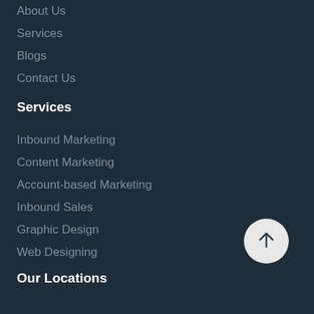About Us
Services
Blogs
Contact Us
Services
Inbound Marketing
Content Marketing
Account-based Marketing
Inbound Sales
Graphic Design
Web Designing
Our Locations
[Figure (illustration): Circular scroll-to-top button with upward arrow]